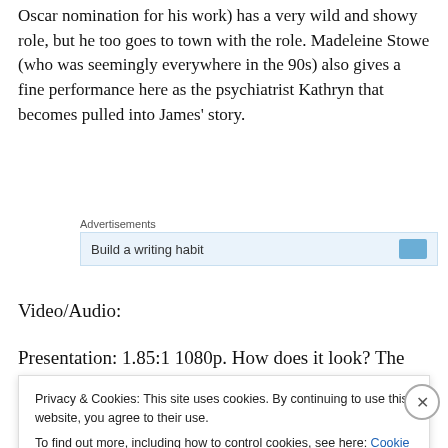Oscar nomination for his work) has a very wild and showy role, but he too goes to town with the role. Madeleine Stowe (who was seemingly everywhere in the 90s) also gives a fine performance here as the psychiatrist Kathryn that becomes pulled into James' story.
[Figure (screenshot): Advertisements area with 'Build a writing habit' ad box partially visible with a blue button]
Video/Audio:
Presentation: 1.85:1 1080p. How does it look? The film
Privacy & Cookies: This site uses cookies. By continuing to use this website, you agree to their use.
To find out more, including how to control cookies, see here: Cookie Policy

Close and accept